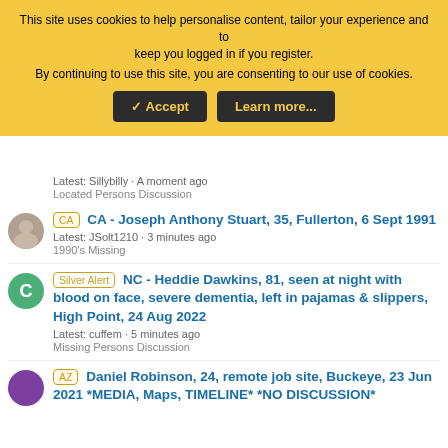This site uses cookies to help personalise content, tailor your experience and to keep you logged in if you register. By continuing to use this site, you are consenting to our use of cookies.
Accept | Learn more...
Latest: Sillybilly · A moment ago
Located Persons Discussion
CA - Joseph Anthony Stuart, 35, Fullerton, 6 Sept 1991
Latest: JSolt1210 · 3 minutes ago
1990's Missing
Silver Alert NC - Heddie Dawkins, 81, seen at night with blood on face, severe dementia, left in pajamas & slippers, High Point, 24 Aug 2022
Latest: cuffem · 5 minutes ago
Missing Persons Discussion
AZ Daniel Robinson, 24, remote job site, Buckeye, 23 Jun 2021 *MEDIA, Maps, TIMELINE* *NO DISCUSSION*